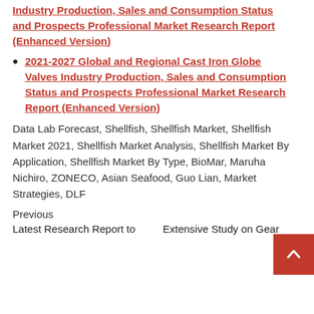Industry Production, Sales and Consumption Status and Prospects Professional Market Research Report (Enhanced Version)
2021-2027 Global and Regional Cast Iron Globe Valves Industry Production, Sales and Consumption Status and Prospects Professional Market Research Report (Enhanced Version)
Data Lab Forecast, Shellfish, Shellfish Market, Shellfish Market 2021, Shellfish Market Analysis, Shellfish Market By Application, Shellfish Market By Type, BioMar, Maruha Nichiro, ZONECO, Asian Seafood, Guo Lian, Market Strategies, DLF
Previous
Latest Research Report to
Extensive Study on Gear